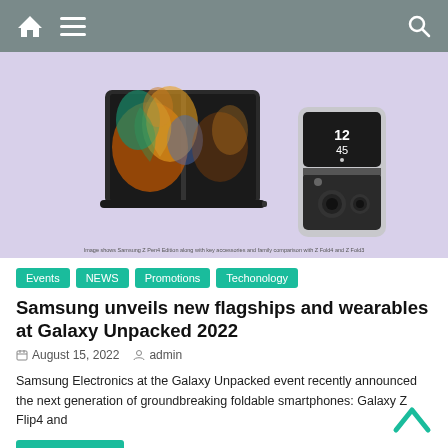Navigation bar with home icon, menu icon, and search icon
[Figure (photo): Samsung Galaxy Z Fold4 open with S Pen and Galaxy Z Flip4 on a lavender/purple background]
Image shows Samsung Z Pen4 Edition along with key accessories and family comparison with Z Fold4 and Z Fold3
Events | NEWS | Promotions | Techonology
Samsung unveils new flagships and wearables at Galaxy Unpacked 2022
August 15, 2022  admin
Samsung Electronics at the Galaxy Unpacked event recently announced the next generation of groundbreaking foldable smartphones: Galaxy Z Flip4 and
Read more